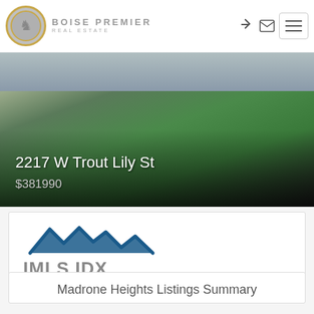[Figure (logo): Boise Premier Real Estate logo with golden circle border and lion crest]
[Figure (photo): Property exterior photo showing lawn and driveway area at 2217 W Trout Lily St]
2217 W Trout Lily St
$381990
[Figure (logo): IMLS IDX logo with mountain peaks graphic above text]
Madrone Heights Listings Summary